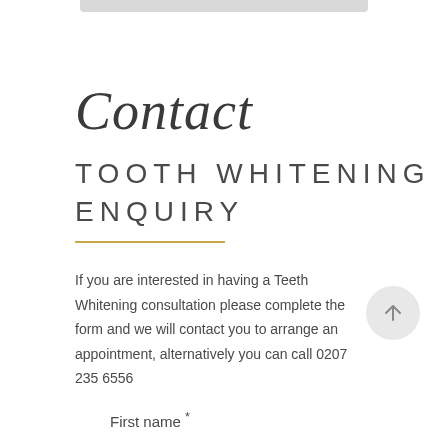Contact
TOOTH WHITENING ENQUIRY
If you are interested in having a Teeth Whitening consultation please complete the form and we will contact you to arrange an appointment, alternatively you can call 0207 235 6556
First name *